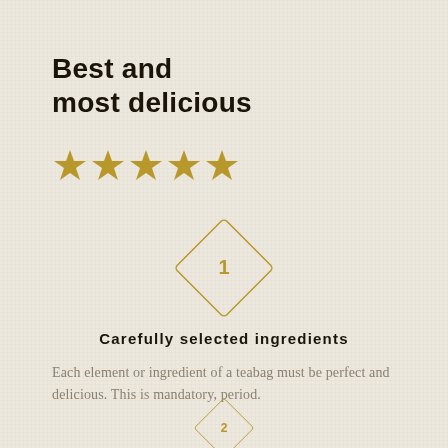Best and most delicious
[Figure (illustration): Five gold star rating icons in a row]
[Figure (illustration): Diamond shape outline with number 1 inside, gold color]
Carefully selected ingredients
Each element or ingredient of a teabag must be perfect and delicious. This is mandatory, period.
[Figure (illustration): Diamond shape outline with number 2 inside, gold color, partially visible at bottom]